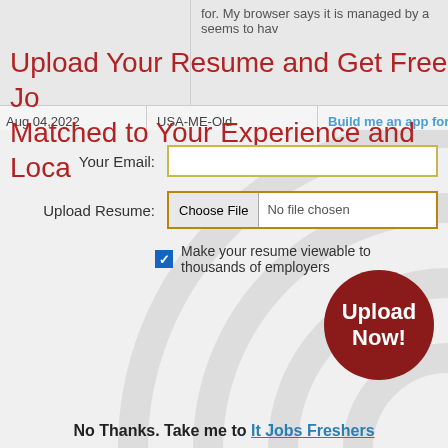|  |  |  |
| --- | --- | --- |
|  |  | for. My browser says it is managed by a seems to hav |
| Aug 04,2022 | USA-ME-Old | Build me an app for IOS and Ar |
Upload Your Resume and Get Free Jo Matched to Your Experience and Loca
Your Email:
Upload Resume: Choose File No file chosen
Make your resume viewable to thousands of employers
Upload Now!
No Thanks. Take me to It Jobs Freshers